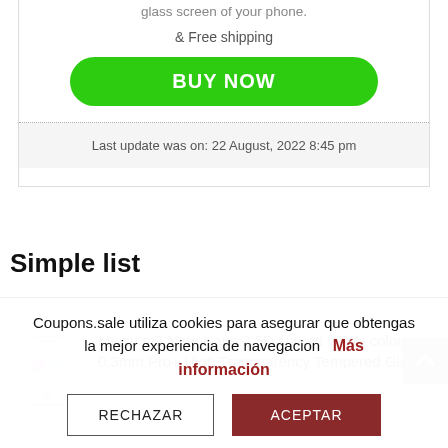glass screen of your phone.
& Free shipping
BUY NOW
Last update was on: 22 August, 2022 8:45 pm
Simple list
[Figure (photo): Meizu m3 Note phone product thumbnail image]
Meizu m3 Note Kaira 2.5D curved White colour 0.3mm Pro+ High Transparency Tempered Glass
Coupons.sale utiliza cookies para asegurar que obtengas la mejor experiencia de navegacion   Más información
RECHAZAR
ACEPTAR